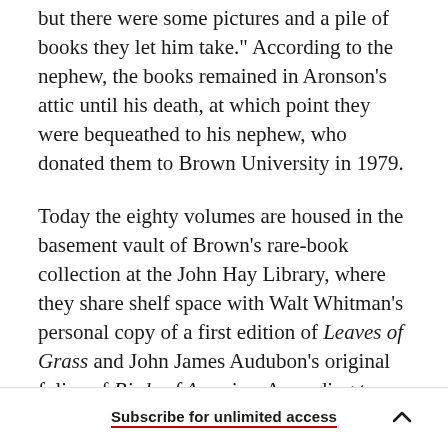but there were some pictures and a pile of books they let him take." According to the nephew, the books remained in Aronson's attic until his death, at which point they were bequeathed to his nephew, who donated them to Brown University in 1979.
Today the eighty volumes are housed in the basement vault of Brown's rare-book collection at the John Hay Library, where they share shelf space with Walt Whitman's personal copy of a first edition of Leaves of Grass and John James Audubon's original folios of Birds of America. According to Samuel Streit, the associate librarian
Subscribe for unlimited access